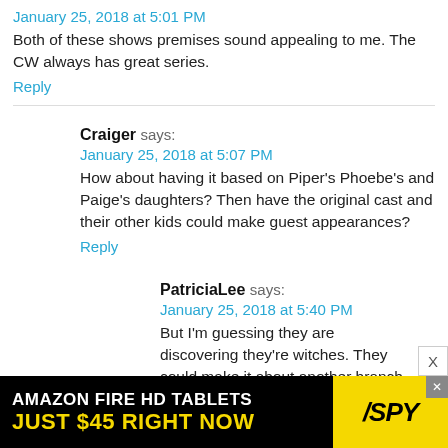January 25, 2018 at 5:01 PM
Both of these shows premises sound appealing to me. The CW always has great series.
Reply
Craiger says:
January 25, 2018 at 5:07 PM
How about having it based on Piper's Phoebe's and Paige's daughters? Then have the original cast and their other kids could make guest appearances?
Reply
PatriciaLee says:
January 25, 2018 at 5:40 PM
But I'm guessing they are discovering they're witches. They could make it about another branch the family, who discovers their connection...
[Figure (infographic): Advertisement banner: Amazon Fire HD Tablets Just $45 Right Now with SPY logo]